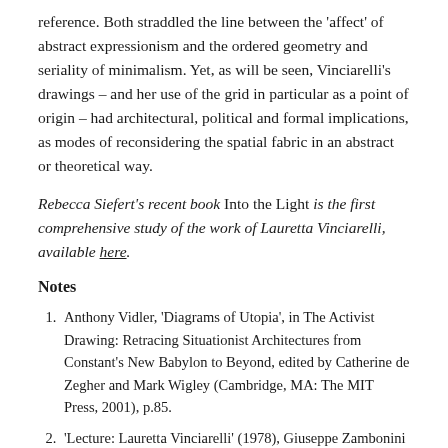reference. Both straddled the line between the 'affect' of abstract expressionism and the ordered geometry and seriality of minimalism. Yet, as will be seen, Vinciarelli's drawings – and her use of the grid in particular as a point of origin – had architectural, political and formal implications, as modes of reconsidering the spatial fabric in an abstract or theoretical way.
Rebecca Siefert's recent book Into the Light is the first comprehensive study of the work of Lauretta Vinciarelli, available here.
Notes
Anthony Vidler, 'Diagrams of Utopia', in The Activist Drawing: Retracing Situationist Architectures from Constant's New Babylon to Beyond, edited by Catherine de Zegher and Mark Wigley (Cambridge, MA: The MIT Press, 2001), p.85.
'Lecture: Lauretta Vinciarelli' (1978), Giuseppe Zambonini papers.